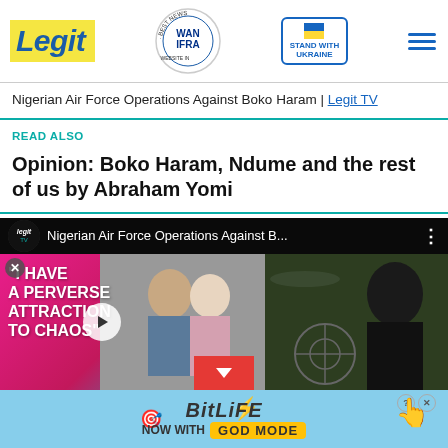[Figure (logo): Legit news website header with logo, WAN-IFRA 2021 Best News Website in Africa badge, Stand With Ukraine button, and hamburger menu]
Nigerian Air Force Operations Against Boko Haram | Legit TV
READ ALSO
Opinion: Boko Haram, Ndume and the rest of us by Abraham Yomi
[Figure (screenshot): Legit TV video player showing Nigerian Air Force Operations Against Boko Haram video with overlay advertisement thumbnail showing a couple and text 'I have a perverse attraction to chaos']
[Figure (screenshot): BitLife advertisement banner - Now with God Mode]